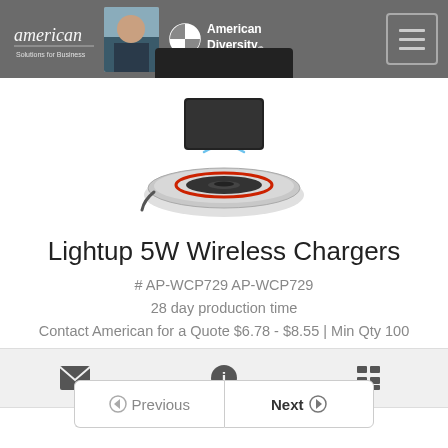American Solutions for Business | American Diversity | Menu
[Figure (photo): Wireless charger product photo: a circular metallic wireless charging pad with a red ring accent and a black smartphone shown above it, with wireless signal arcs illustrated between them]
Lightup 5W Wireless Chargers
# AP-WCP729 AP-WCP729
28 day production time
Contact American for a Quote $6.78 - $8.55 | Min Qty 100
[Figure (infographic): Three action icons: envelope (email), info circle, and list/details icon]
Previous | Next